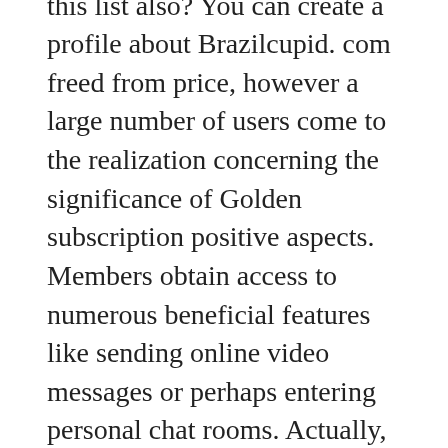incredibly skillfully. They will show the fact that happiness of worldwide lovers is a fact, so isn't it time for you to be on this list also? You can create a profile about Brazilcupid. com freed from price, however a large number of users come to the realization concerning the significance of Golden subscription positive aspects. Members obtain access to numerous beneficial features like sending online video messages or perhaps entering personal chat rooms. Actually, the change of such features is actually intensive and can be made use of solely by simply premium subscribers. You need circular $30 a month to turn out to be one of many Gold golf club members. Together with socializing, this kind of membership presents several extra nice benefits including advanced coordinating to discover a exceptional partner in less than a minute.